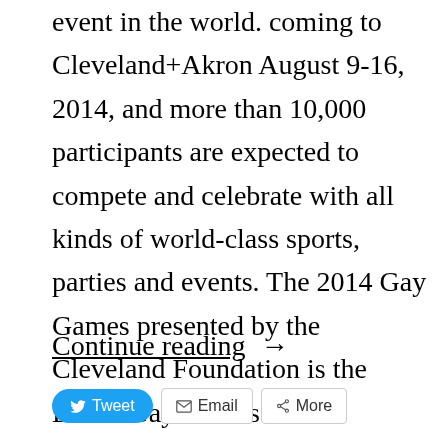event in the world. coming to Cleveland+Akron August 9-16, 2014, and more than 10,000 participants are expected to compete and celebrate with all kinds of world-class sports, parties and events. The 2014 Gay Games presented by the Cleveland Foundation is the LAST Gay Games in …
Continue reading →
[Figure (other): Social sharing buttons: Tweet (Twitter/blue), Email, More]